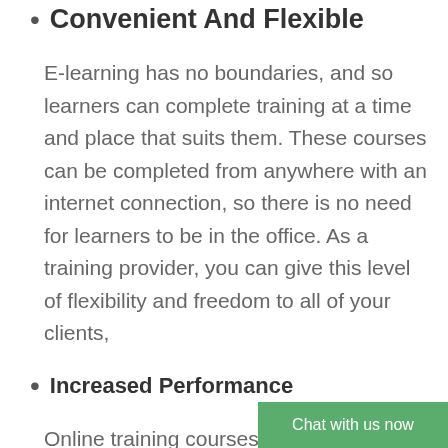Convenient And Flexible
E-learning has no boundaries, and so learners can complete training at a time and place that suits them. These courses can be completed from anywhere with an internet connection, so there is no need for learners to be in the office. As a training provider, you can give this level of flexibility and freedom to all of your clients,
Increased Performance
Online training courses can be completed far quicker than in-person training. Because of this, workers are able to get back to their daily tasks and put their new skills to t…